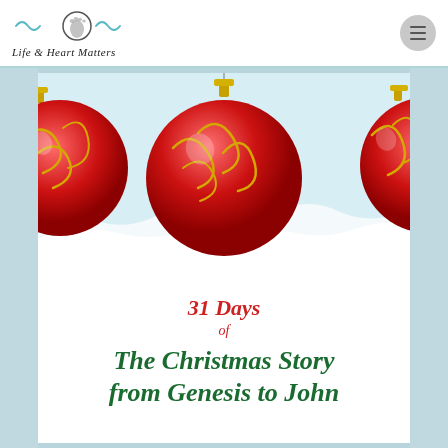Life & Heart Matters
[Figure (illustration): Book cover showing three red Christmas ornaments with gold swirl patterns resting on white snow, with text '31 Days of The Christmas Story from Genesis to John']